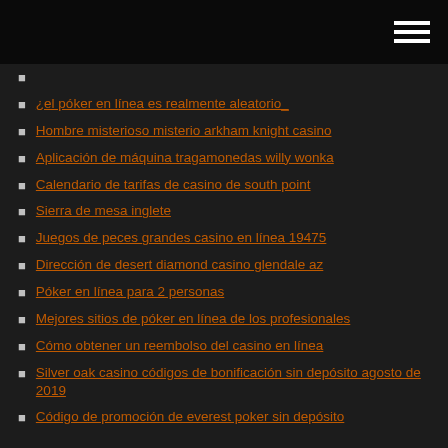¿el póker en línea es realmente aleatorio_
Hombre misterioso misterio arkham knight casino
Aplicación de máquina tragamonedas willy wonka
Calendario de tarifas de casino de south point
Sierra de mesa inglete
Juegos de peces grandes casino en línea 19475
Dirección de desert diamond casino glendale az
Póker en línea para 2 personas
Mejores sitios de póker en línea de los profesionales
Cómo obtener un reembolso del casino en línea
Silver oak casino códigos de bonificación sin depósito agosto de 2019
Código de promoción de everest poker sin depósito